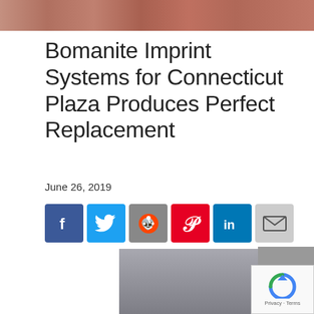[Figure (photo): Partial view of a brick or stone surface at the top of the page]
Bomanite Imprint Systems for Connecticut Plaza Produces Perfect Replacement
June 26, 2019
[Figure (infographic): Social media share buttons: Facebook, Twitter, Reddit, Pinterest, LinkedIn, Email]
[Figure (photo): Outdoor urban plaza scene with street lamps, bare trees, and paved surface with Bomanite watermark logo]